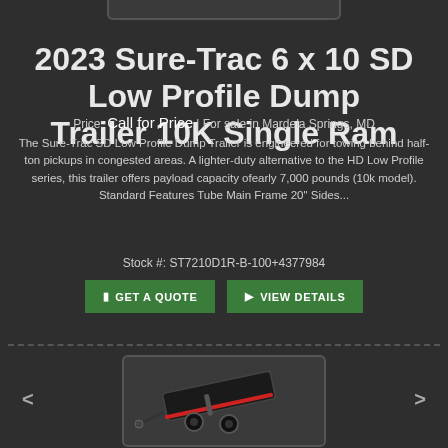2023 Sure-Trac 6 x 10 SD Low Profile Dump Trailer 10K Single Ram
Price: Call for Price | For sale in Mardela Springs, MD
The Sure-Trac SD Low Profile Dump Trailer is engineered for towing behind half-ton pickups in congested areas. A lighter-duty alternative to the HD Low Profile series, this trailer offers payload capacity ofearly 7,000 pounds (10k model). Standard Features Tube Main Frame 20" Sides...
Stock #: ST7210D1R-B-100+4377984
[Figure (photo): Black dump trailer - Sure-Trac 6x10 SD Low Profile Dump Trailer product photo]
[Figure (photo): Bottom carousel image area showing a black Sure-Trac dump trailer at an angle]